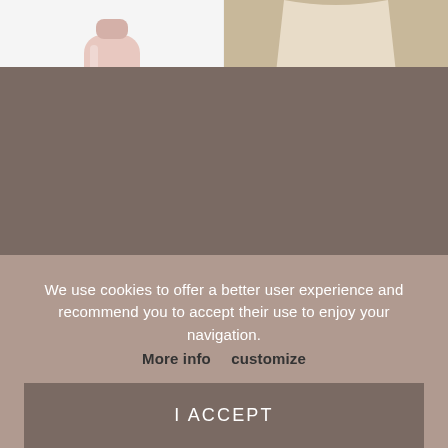[Figure (photo): Pink insulated bottle (Qwetch brand) partially visible at top, product image on white background]
[Figure (photo): Person wearing a beige/cream midi skirt, lower body visible, on neutral background]
Baby Pink Bottle 5...
17.00€  33.90€
SOLD OUT - Mic...
120.00€
We use cookies to offer a better user experience and recommend you to accept their use to enjoy your navigation. More info  customize
I ACCEPT